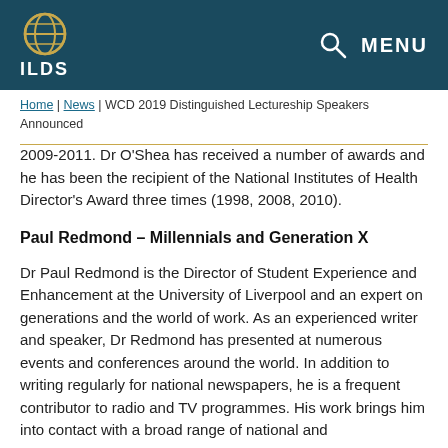[Figure (logo): ILDS globe logo with text ILDS in white on dark teal header background]
ILDS | MENU
Home | News | WCD 2019 Distinguished Lectureship Speakers Announced
2009-2011. Dr O'Shea has received a number of awards and he has been the recipient of the National Institutes of Health Director's Award three times (1998, 2008, 2010).
Paul Redmond – Millennials and Generation X
Dr Paul Redmond is the Director of Student Experience and Enhancement at the University of Liverpool and an expert on generations and the world of work. As an experienced writer and speaker, Dr Redmond has presented at numerous events and conferences around the world. In addition to writing regularly for national newspapers, he is a frequent contributor to radio and TV programmes. His work brings him into contact with a broad range of national and